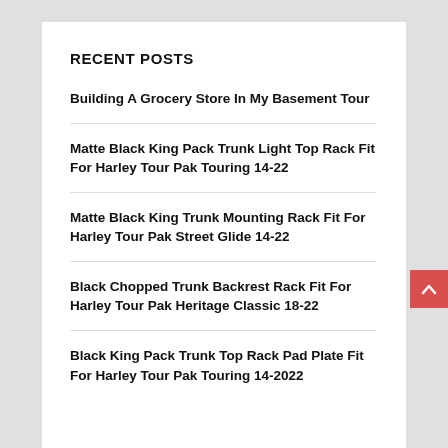RECENT POSTS
Building A Grocery Store In My Basement Tour
Matte Black King Pack Trunk Light Top Rack Fit For Harley Tour Pak Touring 14-22
Matte Black King Trunk Mounting Rack Fit For Harley Tour Pak Street Glide 14-22
Black Chopped Trunk Backrest Rack Fit For Harley Tour Pak Heritage Classic 18-22
Black King Pack Trunk Top Rack Pad Plate Fit For Harley Tour Pak Touring 14-2022